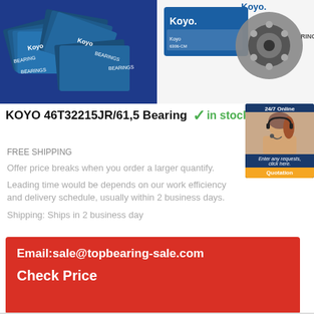[Figure (photo): Stack of Koyo bearing boxes with blue packaging, bearings brand logo visible]
[Figure (photo): Koyo bearing product displayed with box and metal ball bearing, white background]
KOYO 46T32215JR/61,5 Bearing
in stock
[Figure (photo): 24/7 Online customer service widget showing a woman with headset, with text 'Enter any requests, click here.' and a Quotation button]
FREE SHIPPING
Offer price breaks when you order a larger quantify.
Leading time would be depends on our work efficiency and delivery schedule, usually within 2 business days.
Shipping: Ships in 2 business day
Email:sale@topbearing-sale.com
Check Price